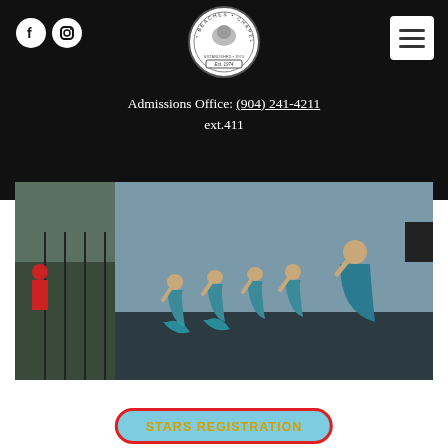[Figure (logo): Beaches Chapel School circular logo badge]
[Figure (illustration): Facebook and Instagram social media icons (white circles on black background)]
[Figure (other): White hamburger menu button on black background]
Admissions Office: (904) 241-4211 ext.411
[Figure (photo): Young girls in teal/blue dance costumes bowing on stage, with spectators on the left side]
STARS REGISTRATION